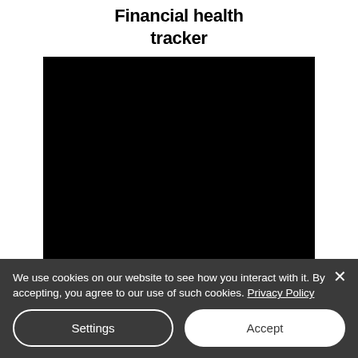Financial health tracker
[Figure (screenshot): Black rectangle representing a video or image placeholder for the financial health tracker]
We use cookies on our website to see how you interact with it. By accepting, you agree to our use of such cookies. Privacy Policy
Settings
Accept